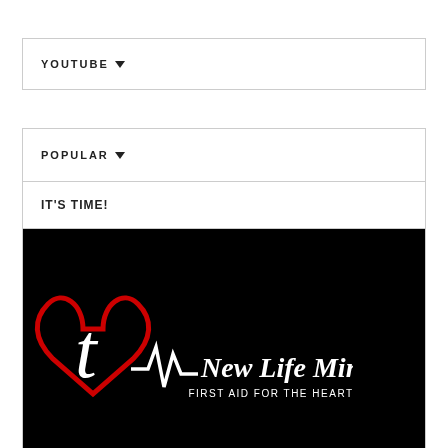YOUTUBE ▼
POPULAR ▼
IT'S TIME!
[Figure (logo): New Life Ministry logo — black background with a red heart outline and white cross (resembling a pulse/EKG line), white script text reading 'New Life Ministry' and smaller caps text 'FIRST AID FOR THE HEART']